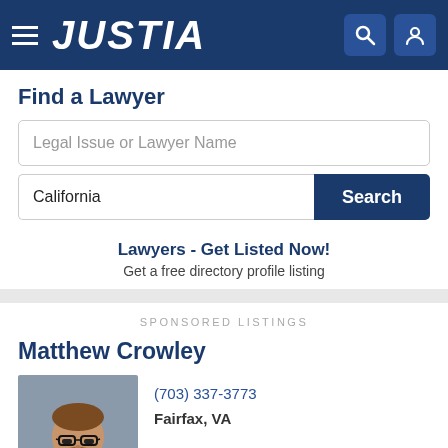JUSTIA
Find a Lawyer
Legal Issue or Lawyer Name
California
Search
Lawyers - Get Listed Now!
Get a free directory profile listing
SPONSORED LISTINGS
Matthew Crowley
[Figure (photo): Headshot photo of Matthew Crowley, a man with glasses and brown beard wearing a dark suit jacket against a gray background]
(703) 337-3773
Fairfax, VA